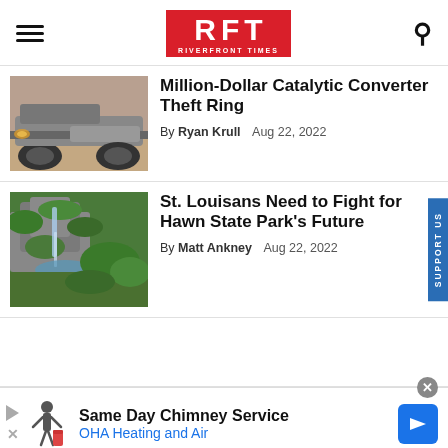RFT RIVERFRONT TIMES
Million-Dollar Catalytic Converter Theft Ring
By Ryan Krull  Aug 22, 2022
St. Louisans Need to Fight for Hawn State Park's Future
By Matt Ankney  Aug 22, 2022
Same Day Chimney Service OHA Heating and Air